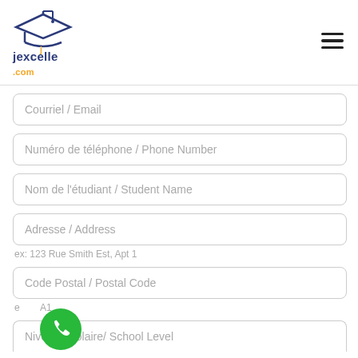[Figure (logo): jexcelle.com logo with graduation cap icon in navy/orange]
Courriel / Email
Numéro de téléphone / Phone Number
Nom de l'étudiant / Student Name
Adresse / Address
ex: 123 Rue Smith Est, Apt 1
Code Postal / Postal Code
ex: ... A1
[Figure (illustration): Green circular phone/call button (FAB)]
Niveau Scolaire/ School Level